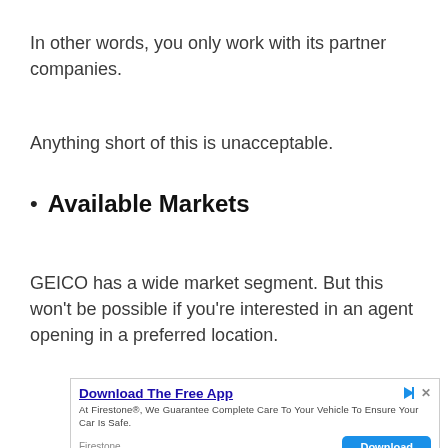In other words, you only work with its partner companies.
Anything short of this is unacceptable.
Available Markets
GEICO has a wide market segment. But this won’t be possible if you’re interested in an agent opening in a preferred location.
[Figure (other): Advertisement banner: Download The Free App - Firestone. Text: At Firestone®, We Guarantee Complete Care To Your Vehicle To Ensure Your Car Is Safe. Download button.]